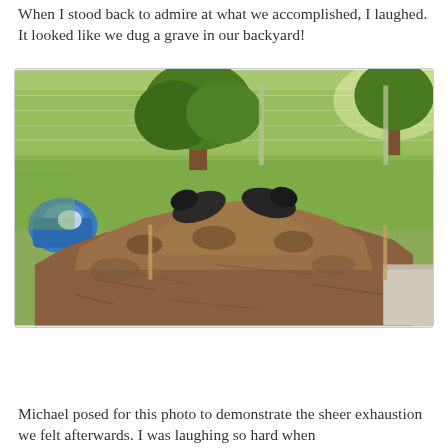When I stood back to admire at what we accomplished, I laughed. It looked like we dug a grave in our backyard!
[Figure (photo): A backyard scene showing a large mound of freshly dug dirt/soil piled up on a grassy lawn. Two dark objects (feet/shoes) appear sticking out from the top of the mound, giving it the appearance of a grave. A blue bag is visible on the left side, and a chain-link fence with trees is visible in the background.]
Michael posed for this photo to demonstrate the sheer exhaustion we felt afterwards. I was laughing so hard when